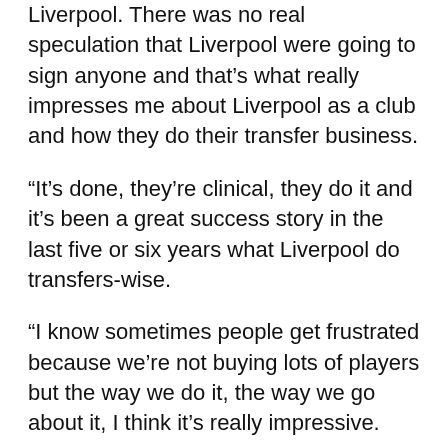Liverpool. There was no real speculation that Liverpool were going to sign anyone and that's what really impresses me about Liverpool as a club and how they do their transfer business.
“It’s done, they’re clinical, they do it and it’s been a great success story in the last five or six years what Liverpool do transfers-wise.
“I know sometimes people get frustrated because we’re not buying lots of players but the way we do it, the way we go about it, I think it’s really impressive.
“The signing, who knows but more often than not Jurgen Klopp and the people making the transfer